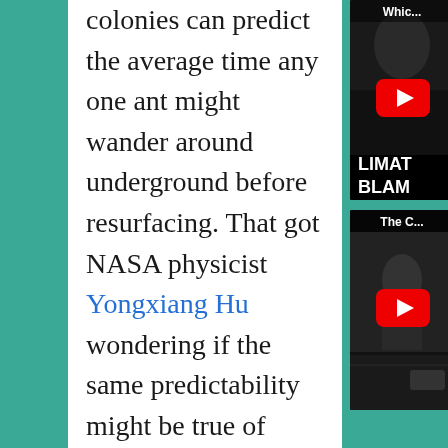colonies can predict the average time any one ant might wander around underground before resurfacing. That got NASA physicist Yongxiang Hu wondering if the same predictability might be true of photons—particles of light—traveling through the snowpack. If so, that would let scientists
[Figure (screenshot): YouTube video thumbnail showing a person with text 'Whic...' and partially visible text 'LIMAT BLAM' on dark background with red play button]
[Figure (screenshot): YouTube video thumbnail labeled 'The C...' showing a person in a dark scene with red play button]